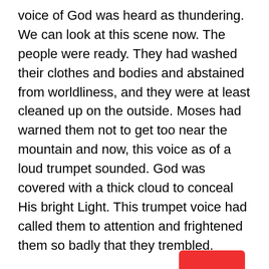voice of God was heard as thundering. We can look at this scene now. The people were ready. They had washed their clothes and bodies and abstained from worldliness, and they were at least cleaned up on the outside. Moses had warned them not to get too near the mountain and now, this voice as of a loud trumpet sounded. God was covered with a thick cloud to conceal His bright Light. This trumpet voice had called them to attention and frightened them so badly that they trembled.
Exodus 19:17 “And Moses brought forth the people out of the camp to meet with God; and they stood at the nether part of the mount.”
An open space must have intervened between the camp and the “bounds.” Into this Moses